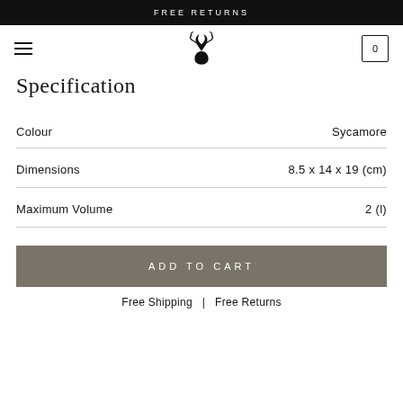FREE RETURNS
Specification
| Attribute | Value |
| --- | --- |
| Colour | Sycamore |
| Dimensions | 8.5 x 14 x 19 (cm) |
| Maximum Volume | 2 (l) |
ADD TO CART
Free Shipping  |  Free Returns